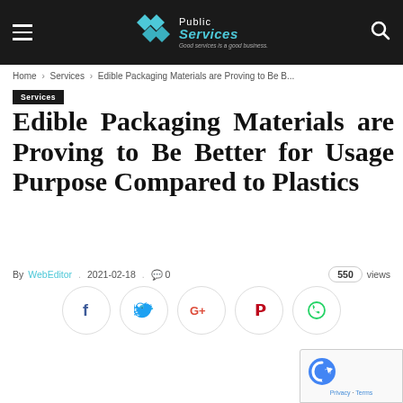Public Services — Good services is a good business.
Home > Services > Edible Packaging Materials are Proving to Be B...
Services
Edible Packaging Materials are Proving to Be Better for Usage Purpose Compared to Plastics
By WebEditor . 2021-02-18 . 0   550 views
[Figure (infographic): Social share buttons: Facebook, Twitter, Google+, Pinterest, WhatsApp]